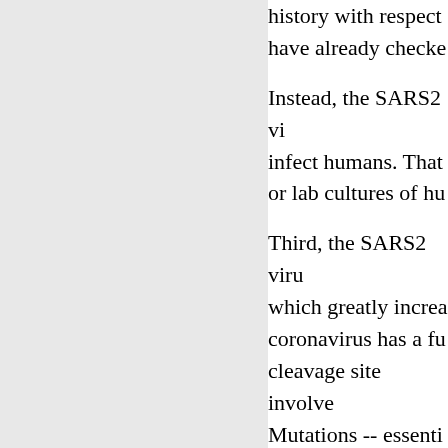history with respect to have already checked
Instead, the SARS2 vi infect humans. That or lab cultures of hu
Third, the SARS2 viru which greatly increa coronavirus has a fu cleavage site involve Mutations -- essenti single amino acid, n
At least eleven exper including some by D Dr. Steven Quay a bi SARS2.